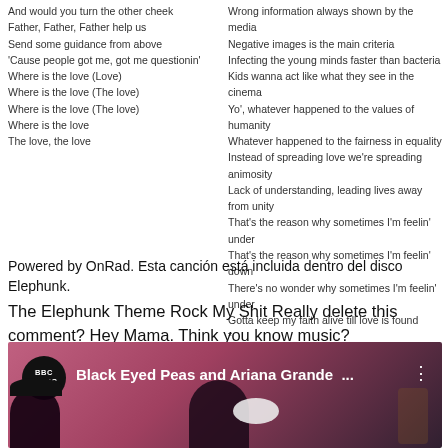And would you turn the other cheek
Father, Father, Father help us
Send some guidance from above
'Cause people got me, got me questionin'
Where is the love (Love)
Where is the love (The love)
Where is the love (The love)
Where is the love
The love, the love
Wrong information always shown by the media
Negative images is the main criteria
Infecting the young minds faster than bacteria
Kids wanna act like what they see in the cinema
Yo', whatever happened to the values of humanity
Whatever happened to the fairness in equality
Instead of spreading love we're spreading animosity
Lack of understanding, leading lives away from unity
That's the reason why sometimes I'm feelin' under
That's the reason why sometimes I'm feelin' down
There's no wonder why sometimes I'm feelin' under
Gotta keep my faith alive till love is found
*
Powered by OnRad. Esta canción está incluida dentro del disco Elephunk.
The Elephunk Theme Rock My Shit Really delete this comment? Hey Mama. Think you know music?
[Figure (screenshot): Video thumbnail showing BBC Music logo and title 'Black Eyed Peas and Ariana Grande ...' with dark concert silhouettes on a pink/purple background]